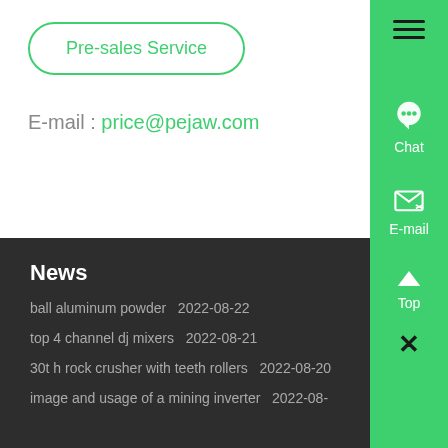Pre-sales Service
E-mail : price@pejaw.com
News
ball aluminum powder  2022-08-22
top 4 channel dj mixers  2022-08-21
30t h rock crusher with teeth rollers  2022-08-20
image and usage of a mining inverter  2022-08-